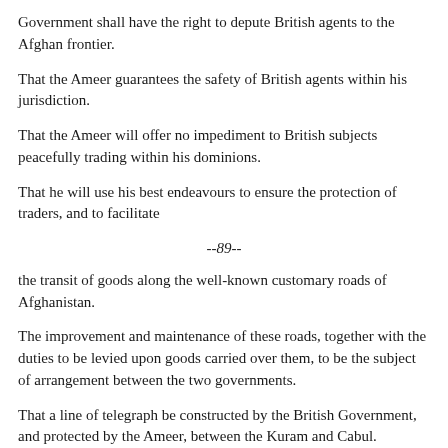Government shall have the right to depute British agents to the Afghan frontier.
That the Ameer guarantees the safety of British agents within his jurisdiction.
That the Ameer will offer no impediment to British subjects peacefully trading within his dominions.
That he will use his best endeavours to ensure the protection of traders, and to facilitate
--89--
the transit of goods along the well-known customary roads of Afghanistan.
The improvement and maintenance of these roads, together with the duties to be levied upon goods carried over them, to be the subject of arrangement between the two governments.
That a line of telegraph be constructed by the British Government, and protected by the Ameer, between the Kuram and Cabul.
That the British Government restores to the Ameer the towns of